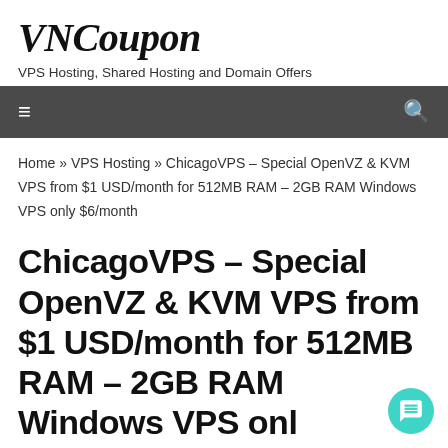VNCoupon
VPS Hosting, Shared Hosting and Domain Offers
≡  🔍
Home » VPS Hosting » ChicagoVPS – Special OpenVZ & KVM VPS from $1 USD/month for 512MB RAM – 2GB RAM Windows VPS only $6/month
ChicagoVPS – Special OpenVZ & KVM VPS from $1 USD/month for 512MB RAM – 2GB RAM Windows VPS only $6/month